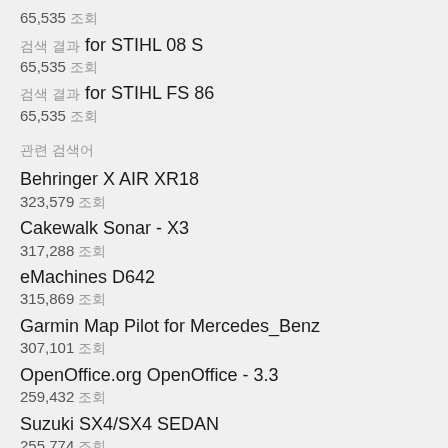65,535 조회
검색 결과 for STIHL 08 S
65,535 조회
검색 결과 for STIHL FS 86
65,535 조회
관련 검색어
Behringer X AIR XR18
323,579 조회
Cakewalk Sonar - X3
317,288 조회
eMachines D642
315,869 조회
Garmin Map Pilot for Mercedes_Benz
307,101 조회
OpenOffice.org OpenOffice - 3.3
259,432 조회
Suzuki SX4/SX4 SEDAN
255,774 조회
Suzuki Alto